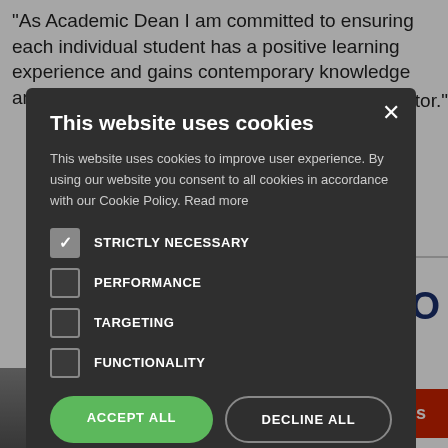"As Academic Dean I am committed to ensuring each individual student has a positive learning experience and gains contemporary knowledge and skills needed to develop a career in the service sector."
er, COO
[Figure (screenshot): Cookie consent modal dialog on a dark background overlay. Title: 'This website uses cookies'. Body text explains cookie usage. Checkboxes for STRICTLY NECESSARY (checked), PERFORMANCE (unchecked), TARGETING (unchecked), FUNCTIONALITY (unchecked). Two buttons: ACCEPT ALL (green) and DECLINE ALL (outlined). Show Details link at bottom. Powered by Cookie-Script footer.]
Chat with us